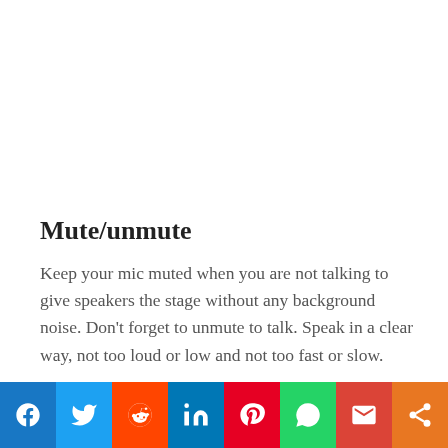Mute/unmute
Keep your mic muted when you are not talking to give speakers the stage without any background noise. Don’t forget to unmute to talk. Speak in a clear way, not too loud or low and not too fast or slow.
Wait for the other to stop talking for you to speak. If yo... on a way to...
[Figure (other): Social sharing bar with icons for Facebook, Twitter, Reddit, LinkedIn, Pinterest, WhatsApp, Gmail, and a share button]